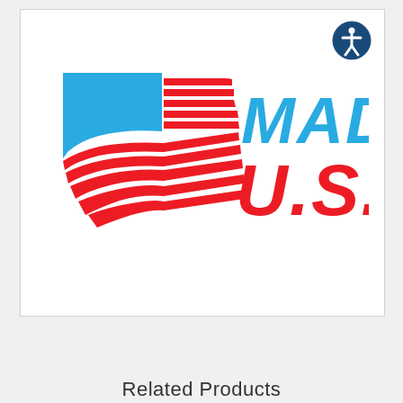[Figure (logo): Made in U.S.A. logo with a stylized American flag on the left (blue canton and red stripes waving) and bold text 'MADE IN U.S.A.' on the right in blue and red colors respectively. An accessibility icon (blue circle with white person figure) appears in the top-right corner of the image box.]
Related Products